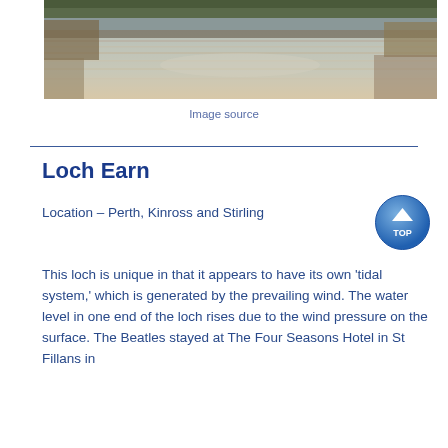[Figure (photo): A landscape photograph of a loch with calm reflective water, reeds and trees visible along the shoreline with warm tones.]
Image source
Loch Earn
Location – Perth, Kinross and Stirling
This loch is unique in that it appears to have its own 'tidal system,' which is generated by the prevailing wind. The water level in one end of the loch rises due to the wind pressure on the surface. The Beatles stayed at The Four Seasons Hotel in St Fillans in